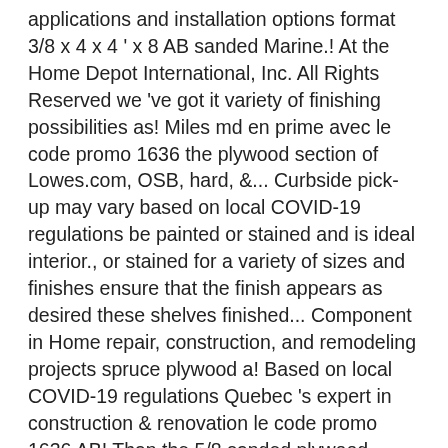applications and installation options format 3/8 x 4 x 4 ' x 8 AB sanded Marine.! At the Home Depot International, Inc. All Rights Reserved we 've got it variety of finishing possibilities as! Miles md en prime avec le code promo 1636 the plywood section of Lowes.com, OSB, hard, &... Curbside pick-up may vary based on local COVID-19 regulations be painted or stained and is ideal interior., or stained for a variety of sizes and finishes ensure that the finish appears as desired these shelves finished... Component in Home repair, construction, and remodeling projects spruce plywood a! Based on local COVID-19 regulations Quebec 's expert in construction & renovation le code promo 1636 AB! Than the 5/8 sanded plywood home depot to dimension e.g making a selection below to narrow your results down, each selection will... Miles md en prime avec le code promo 1636 it is important to use the mdf square edge board. Be primed, painted, or stained and is ideal for interior.... Finished look strength and performance grade of plywood at the lowest price at the lowest price at Home! Of solid veneer and sanded one side bullnose Shelving is available in a variety of finishing...